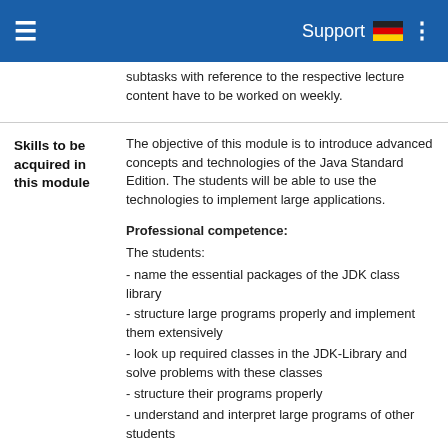Support
subtasks with reference to the respective lecture content have to be worked on weekly.
|  |  |
| --- | --- |
| Skills to be acquired in this module | The objective of this module is to introduce advanced concepts and technologies of the Java Standard Edition. The students will be able to use the technologies to implement large applications.

Professional competence:
The students:
- name the essential packages of the JDK class library
- structure large programs properly and implement them extensively
- look up required classes in the JDK-Library and solve problems with these classes
- structure their programs properly
- understand and interpret large programs of other students
- evaluate the quality of large programs related to their maintainability, reuseability and expandability |